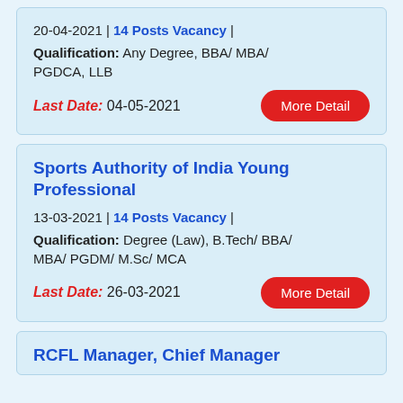20-04-2021 | 14 Posts Vacancy | Qualification: Any Degree, BBA/ MBA/ PGDCA, LLB
Last Date: 04-05-2021
Sports Authority of India Young Professional
13-03-2021 | 14 Posts Vacancy | Qualification: Degree (Law), B.Tech/ BBA/ MBA/ PGDM/ M.Sc/ MCA
Last Date: 26-03-2021
RCFL Manager, Chief Manager